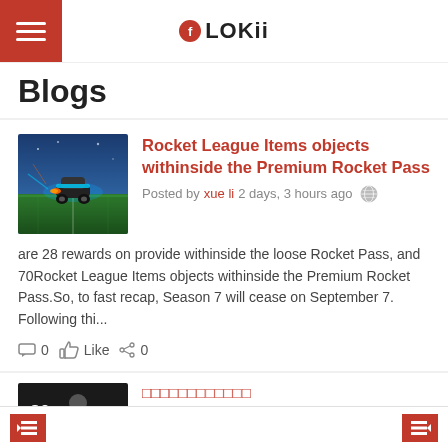FLOKii
Blogs
Rocket League Items objects withinside the Premium Rocket Pass
Posted by xue li 2 days, 3 hours ago
[Figure (screenshot): Rocket League game screenshot showing a futuristic car on a field with colorful energy effects]
are 28 rewards on provide withinside the loose Rocket Pass, and 70Rocket League Items objects withinside the Premium Rocket Pass.So, to fast recap, Season 7 will cease on September 7. Following thi...
0  Like  0
□□□□□□□□□□□□
Posted by onyucy 3 days, 10 hours ago
navigation arrows